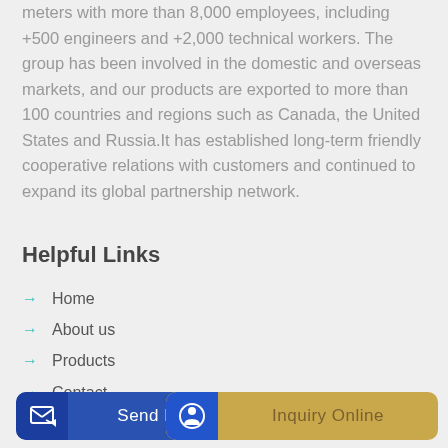meters with more than 8,000 employees, including +500 engineers and +2,000 technical workers. The group has been involved in the domestic and overseas markets, and our products are exported to more than 100 countries and regions such as Canada, the United States and Russia.It has established long-term friendly cooperative relations with customers and continued to expand its global partnership network.
Helpful Links
Home
About us
Products
Contact
Customer Service
Send Message
Inquiry Online